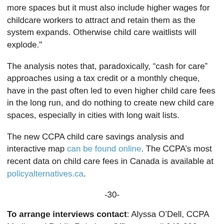more spaces but it must also include higher wages for childcare workers to attract and retain them as the system expands. Otherwise child care waitlists will explode."
The analysis notes that, paradoxically, “cash for care” approaches using a tax credit or a monthly cheque, have in the past often led to even higher child care fees in the long run, and do nothing to create new child care spaces, especially in cities with long wait lists.
The new CCPA child care savings analysis and interactive map can be found online. The CCPA’s most recent data on child care fees in Canada is available at policyalternatives.ca.
-30-
To arrange interviews contact: Alyssa O’Dell, CCPA Media and Public Relations Officer, at cell 343-998-7575 or media@policyalternatives.ca.